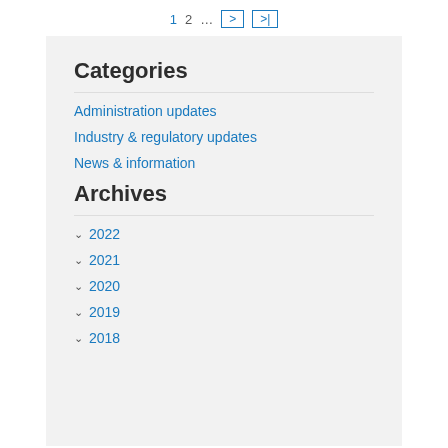1  2  …  >  >|
Categories
Administration updates
Industry & regulatory updates
News & information
Archives
2022
2021
2020
2019
2018